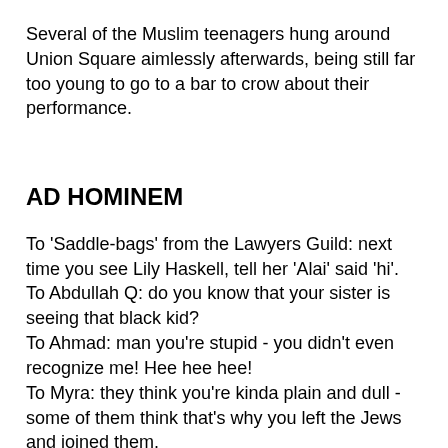Several of the Muslim teenagers hung around Union Square aimlessly afterwards, being still far too young to go to a bar to crow about their performance.
AD HOMINEM
To 'Saddle-bags' from the Lawyers Guild: next time you see Lily Haskell, tell her 'Alai' said 'hi'.
To Abdullah Q: do you know that your sister is seeing that black kid?
To Ahmad: man you're stupid - you didn't even recognize me! Hee hee hee!
To Myra: they think you're kinda plain and dull - some of them think that's why you left the Jews and joined them.
To Moonwind: Rifa'at simply wants to get into your panties. One more won't make a difference.
To Afifa: for g-d's sake, use condoms!
To the chubby blonde in the centre: he's just shtumping you 'cause you're easy, honey, once his cousin finishes college